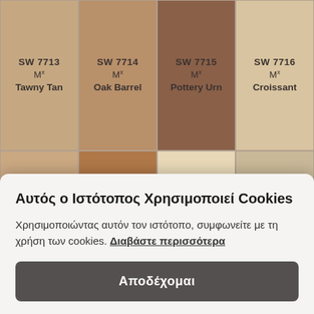[Figure (other): Sherwin-Williams paint color swatch grid showing 12 visible swatches in a 4-column layout. Row 1: SW 7713 Tawny Tan, SW 7714 Oak Barrel, SW 7715 Pottery Urn, SW 7716 Croissant. Row 2: SW 7717 Ligonier Tan, SW 7718 Oak Creek, SW 7719 Fresco Cream, SW 7720 Deer Valley. Row 3 (partial): SW 7721 Crescent, SW 7722 Travertine, SW 7723 Colony Buff, SW 7724 Canoe. Bottom row partially visible with Sage.]
Αυτός ο Ιστότοπος Χρησιμοποιεί Cookies
Χρησιμοποιώντας αυτόν τον ιστότοπο, συμφωνείτε με τη χρήση των cookies. Διαβάστε περισσότερα
Αποδέχομαι